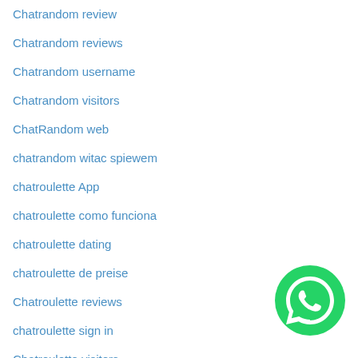Chatrandom review
Chatrandom reviews
Chatrandom username
Chatrandom visitors
ChatRandom web
chatrandom witac spiewem
chatroulette App
chatroulette como funciona
chatroulette dating
chatroulette de preise
Chatroulette reviews
chatroulette sign in
Chatroulette visitors
chatroulette vs omegle for men
chatroulette witac spiewem
[Figure (logo): WhatsApp green circular button with phone receiver icon]